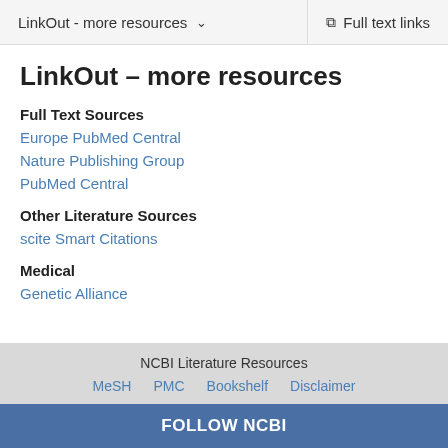LinkOut - more resources  ∨    Full text links
LinkOut – more resources
Full Text Sources
Europe PubMed Central
Nature Publishing Group
PubMed Central
Other Literature Sources
scite Smart Citations
Medical
Genetic Alliance
NCBI Literature Resources  MeSH  PMC  Bookshelf  Disclaimer
FOLLOW NCBI